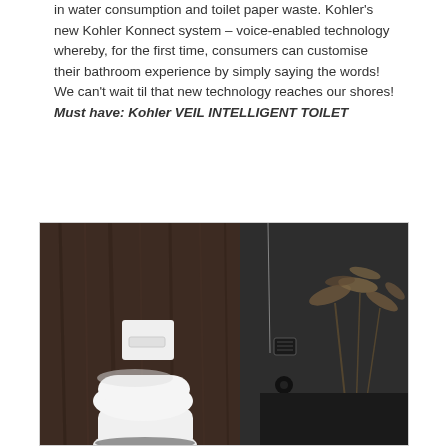in water consumption and toilet paper waste. Kohler's new Kohler Konnect system – voice-enabled technology whereby, for the first time, consumers can customise their bathroom experience by simply saying the words! We can't wait til that new technology reaches our shores! Must have: Kohler VEIL INTELLIGENT TOILET
[Figure (photo): A dark, moody bathroom featuring a white Kohler Veil intelligent wall-hung toilet against a dark wooden-panelled wall. A white flush plate is mounted on the wood-panelled wall. The right side shows a dark grey wall with a small vent/speaker unit and a round black knob/handle. A pendant cord hangs from the ceiling. A decorative plant with feathery fronds is visible in the upper right. A dark shelf is at the bottom right.]